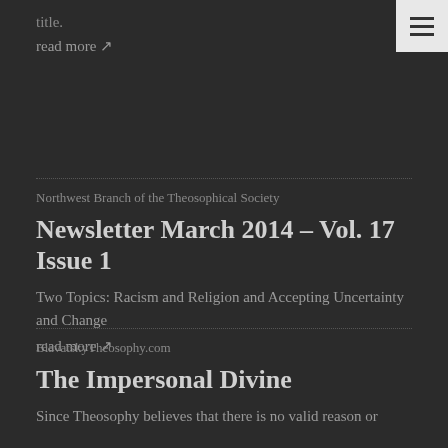title.
read more ↗
Northwest Branch of the Theosophical Society
Newsletter March 2014 – Vol. 17 Issue 1
Two Topics: Racism and Religion and Accepting Uncertainty and Change
read more ↗
BlavatskyTheosophy.com
The Impersonal Divine
Since Theosophy believes that there is no valid reason or